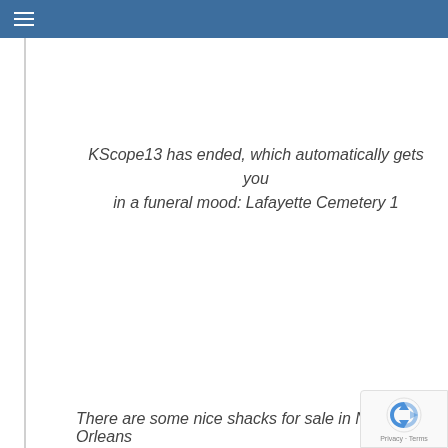KScope13 has ended, which automatically gets you in a funeral mood: Lafayette Cemetery 1
There are some nice shacks for sale in New Orleans